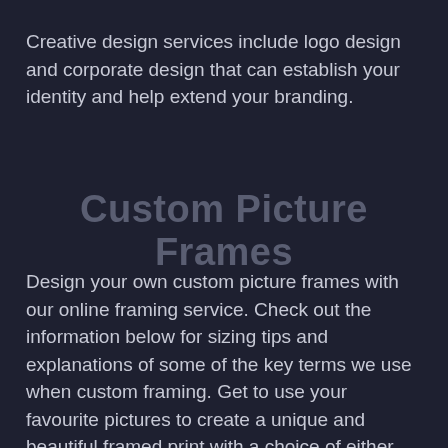Creative design services include logo design and corporate design that can establish your identity and help extend your branding.
Custom Picture Frames
Design your own custom picture frames with our online framing service. Check out the information below for sizing tips and explanations of some of the key terms we use when custom framing. Get to use your favourite pictures to create a unique and beautiful framed print with a choice of either black or white mat paper for your home decor. The photo paper quality is so superior that your photos will shine right through its time and display the story in front of the eyes as if alive.